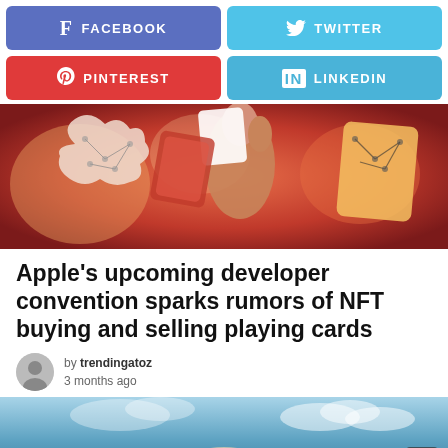[Figure (infographic): Social media share buttons row 1: Facebook (purple-blue) and Twitter (light blue)]
[Figure (infographic): Social media share buttons row 2: Pinterest (red) and LinkedIn (light blue)]
[Figure (illustration): Colorful illustration of hands holding glowing NFT trading cards with orange and red tones]
Apple’s upcoming developer convention sparks rumors of NFT buying and selling playing cards
by trendingatoz
3 months ago
[Figure (photo): Bottom portion of a photo showing objects against a blue sky background, partially visible]